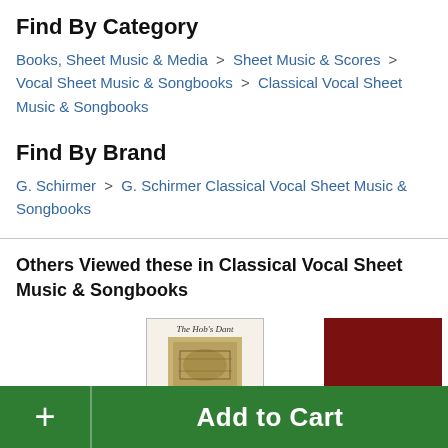Find By Category
Books, Sheet Music & Media > Sheet Music & Scores > Vocal Sheet Music & Songbooks > Classical Vocal Sheet Music & Songbooks
Find By Brand
G. Schirmer > G. Schirmer Classical Vocal Sheet Music & Songbooks
Others Viewed these in Classical Vocal Sheet Music & Songbooks
[Figure (screenshot): Two book thumbnails: 'The Hob's Dant' with tan/gold illustration cover, and a dark red/maroon book cover]
Add to Cart